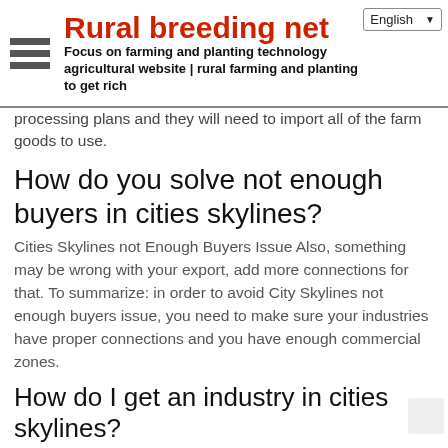Rural breeding net | Focus on farming and planting technology agricultural website | rural farming and planting to get rich
processing plans and they will need to import all of the farm goods to use.
How do you solve not enough buyers in cities skylines?
Cities Skylines not Enough Buyers Issue Also, something may be wrong with your export, add more connections for that. To summarize: in order to avoid City Skylines not enough buyers issue, you need to make sure your industries have proper connections and you have enough commercial zones.
How do I get an industry in cities skylines?
A very small Industry Area will be created upon plopping one of the four Main Buildings. This Area must be enlarged